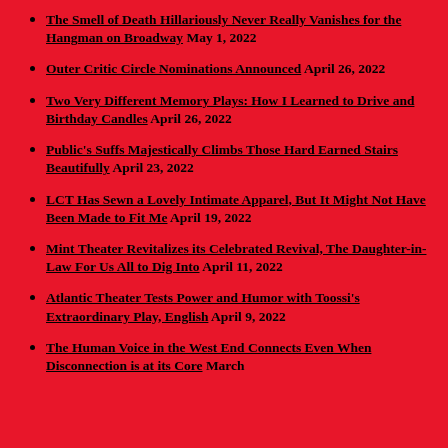The Smell of Death Hillariously Never Really Vanishes for the Hangman on Broadway May 1, 2022
Outer Critic Circle Nominations Announced April 26, 2022
Two Very Different Memory Plays: How I Learned to Drive and Birthday Candles April 26, 2022
Public's Suffs Majestically Climbs Those Hard Earned Stairs Beautifully April 23, 2022
LCT Has Sewn a Lovely Intimate Apparel, But It Might Not Have Been Made to Fit Me April 19, 2022
Mint Theater Revitalizes its Celebrated Revival, The Daughter-in-Law For Us All to Dig Into April 11, 2022
Atlantic Theater Tests Power and Humor with Toossi's Extraordinary Play, English April 9, 2022
The Human Voice in the West End Connects Even When Disconnection is at its Core March